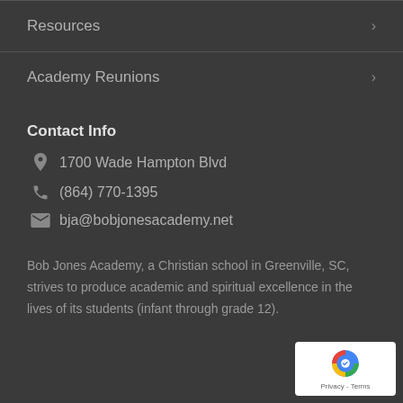Resources
Academy Reunions
Contact Info
1700 Wade Hampton Blvd
(864) 770-1395
bja@bobjonesacademy.net
Bob Jones Academy, a Christian school in Greenville, SC, strives to produce academic and spiritual excellence in the lives of its students (infant through grade 12).
[Figure (logo): reCAPTCHA badge with arrow-circle icon and Privacy - Terms text]